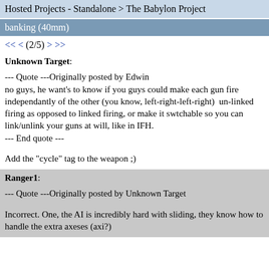Hosted Projects - Standalone > The Babylon Project
banking (40mm)
<< < (2/5) > >>
Unknown Target:
--- Quote ---Originally posted by Edwin
no guys, he want's to know if you guys could make each gun fire independantly of the other (you know, left-right-left-right)  un-linked firing as opposed to linked firing, or make it swtchable so you can link/unlink your guns at will, like in IFH.
--- End quote ---
Add the "cycle" tag to the weapon ;)
Ranger1:
--- Quote ---Originally posted by Unknown Target
Incorrect. One, the AI is incredibly hard with sliding, they know how to handle the extra axeses (axi?)